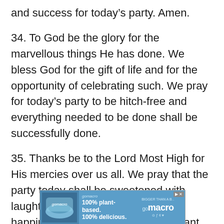and success for today's party. Amen.
34. To God be the glory for the marvellous things He has done. We bless God for the gift of life and for the opportunity of celebrating such. We pray for today's party to be hitch-free and everything needed to be done shall be successfully done.
35. Thanks be to the Lord Most High for His mercies over us all. We pray that the party today shall be sweetened with laughter, graced with love and happiness. We pray both the celebrant, family of the celebrant and all well-wishers that came to celebrate with the celebrant get to their respective destination
[Figure (other): Advertisement banner for gomacro brand: '100% plant-based. 100% delicious.' with gomacro logo]